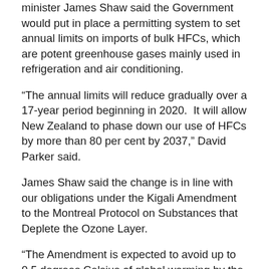minister James Shaw said the Government would put in place a permitting system to set annual limits on imports of bulk HFCs, which are potent greenhouse gases mainly used in refrigeration and air conditioning.
“The annual limits will reduce gradually over a 17-year period beginning in 2020.  It will allow New Zealand to phase down our use of HFCs by more than 80 per cent by 2037,” David Parker said.
James Shaw said the change is in line with our obligations under the Kigali Amendment to the Montreal Protocol on Substances that Deplete the Ozone Layer.
“The Amendment is expected to avoid up to 0.5 degrees Celsius of global warming by the end of the century. This is a significant contribution towards the Paris Agreement’s objectives to keep the global temperature rise ‘well below’ 2 degrees Celsius, and will provide ongoing ozone